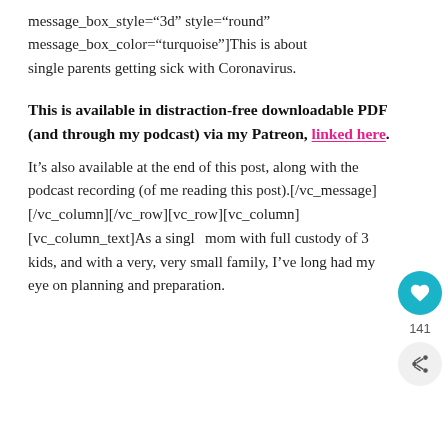message_box_style="3d" style="round" message_box_color="turquoise"]This is about single parents getting sick with Coronavirus.
This is available in distraction-free downloadable PDF (and through my podcast) via my Patreon, linked here.
It’s also available at the end of this post, along with the podcast recording (of me reading this post).[/vc_message][/vc_column][/vc_row][vc_row][vc_column][vc_column_text]As a single mom with full custody of 3 kids, and with a very, very small family, I’ve long had my eye on planning and preparation.